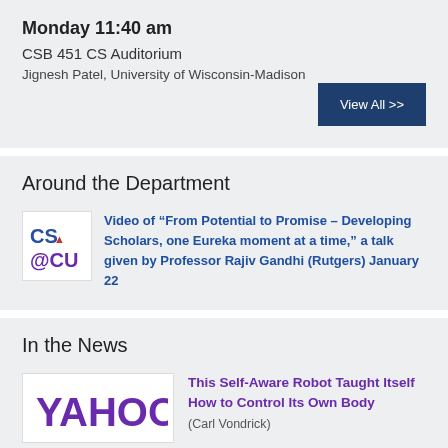Monday 11:40 am
CSB 451 CS Auditorium
Jignesh Patel, University of Wisconsin-Madison
View All >>
Around the Department
[Figure (logo): CS@CU department logo]
Video of “From Potential to Promise – Developing Scholars, one Eureka moment at a time,” a talk given by Professor Rajiv Gandhi (Rutgers) January 22
In the News
[Figure (logo): Yahoo logo in purple]
This Self-Aware Robot Taught Itself How to Control Its Own Body
(Carl Vondrick)